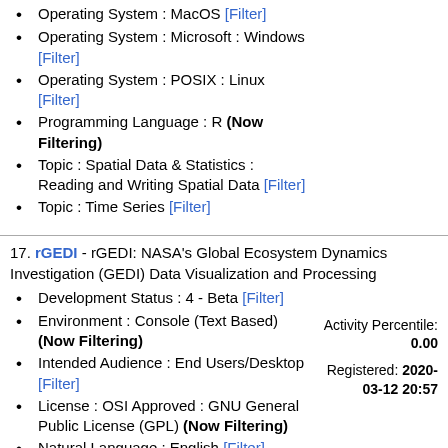Operating System : MacOS [Filter]
Operating System : Microsoft : Windows [Filter]
Operating System : POSIX : Linux [Filter]
Programming Language : R (Now Filtering)
Topic : Spatial Data & Statistics : Reading and Writing Spatial Data [Filter]
Topic : Time Series [Filter]
17. rGEDI - rGEDI: NASA's Global Ecosystem Dynamics Investigation (GEDI) Data Visualization and Processing
Development Status : 4 - Beta [Filter]
Environment : Console (Text Based) (Now Filtering)
Intended Audience : End Users/Desktop [Filter]
License : OSI Approved : GNU General Public License (GPL) (Now Filtering)
Natural Language : English [Filter]
Operating System : MacOS [Filter]
Operating System : Microsoft : Windows [Filter]
Operating System : POSIX : Linux [Filter]
Activity Percentile: 0.00
Registered: 2020-03-12 20:57